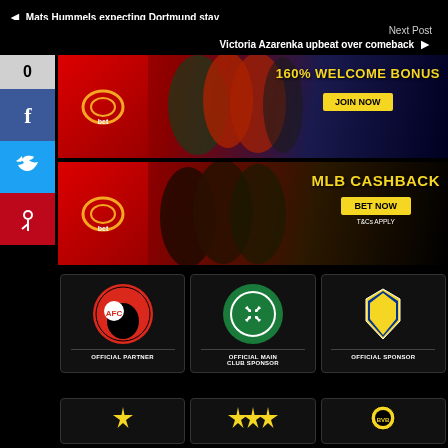◄ Mats Hummels expecting Dortmund stay
Next Post
Victoria Azarenka upbeat over comeback ►
[Figure (infographic): Betting advertisement banner: 160% WELCOME BONUS with JOIN NOW button, showing football players]
[Figure (infographic): Betting advertisement banner: MLB CASHBACK with BET NOW button and T&Cs APPLY, showing baseball players]
[Figure (logo): AFC Bournemouth logo - OFFICIAL PARTNER]
[Figure (logo): Celtic Football Club logo - OFFICIAL MAIN CLUB SPONSOR]
[Figure (logo): Cadiz CF logo - OFFICIAL SPONSOR]
[Figure (logo): Partner with star logo (bottom row)]
[Figure (logo): Partner with three stars logo (bottom row)]
[Figure (logo): Partner logo bottom row right]